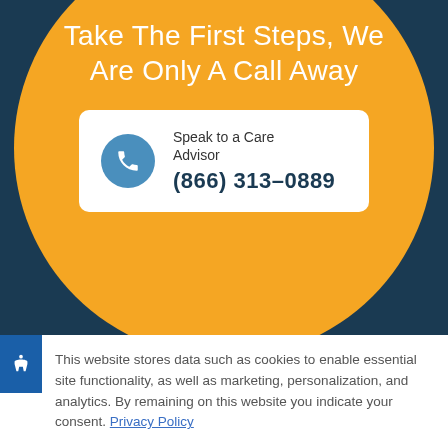Take The First Steps, We Are Only A Call Away
Speak to a Care Advisor
(866) 313-0889
This website stores data such as cookies to enable essential site functionality, as well as marketing, personalization, and analytics. By remaining on this website you indicate your consent. Privacy Policy